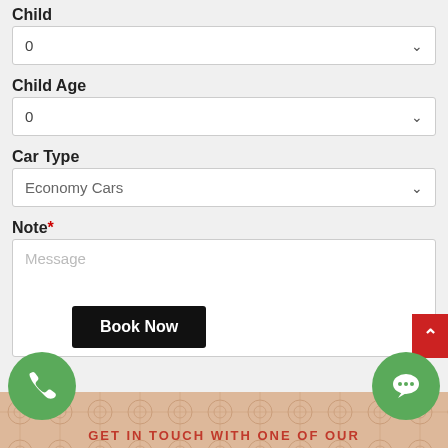Child
0
Child Age
0
Car Type
Economy Cars
Note*
Message
Book Now
GET IN TOUCH WITH ONE OF OUR